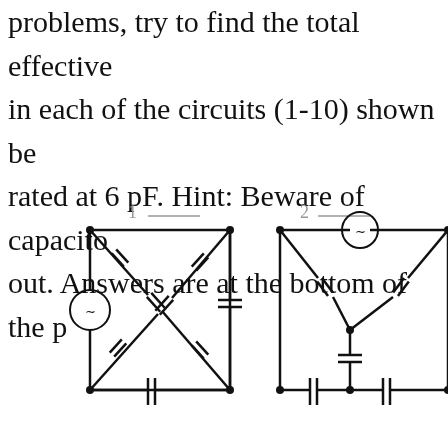problems, try to find the total effective capacitance in each of the circuits (1-10) shown below. Each is rated at 6 pF. Hint: Beware of capacitors that cancel out. Answers are at the bottom of the page.
[Figure (circuit-diagram): Circuit 1: A square circuit with capacitors on all four sides and diagonals. A voltage source (labeled 2) on the left side. Answer blank labeled '1' at top. Bottom has a capacitor symbol. Diagonal capacitors cross the interior.]
[Figure (circuit-diagram): Circuit 2: A triangular/square circuit with a voltage source (labeled 2) at the top center, capacitors on two upper diagonal branches meeting at a center node, a capacitor on the right side. Bottom has two capacitors and a central node. Answer blank labeled '2' at top.]